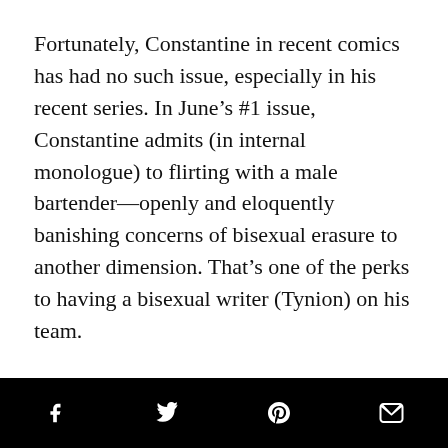Fortunately, Constantine in recent comics has had no such issue, especially in his recent series. In June's #1 issue, Constantine admits (in internal monologue) to flirting with a male bartender—openly and eloquently banishing concerns of bisexual erasure to another dimension. That's one of the perks to having a bisexual writer (Tynion) on his team.
Tynion, Doyle, and Rossmo have crafted a sexy, eerie, and magnetic take on John Constantine; he may be a bad influence, but—darn—is he a charming one.
Social share icons: Facebook, Twitter, Pinterest, Email